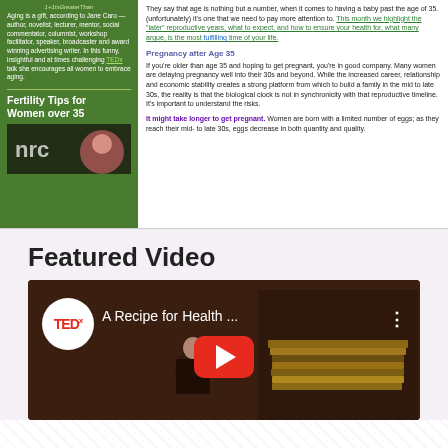Aging is a gift, according to Jane Caro — author, novelist, lecturer, mentor, social commentator, columnist, workshop facilitator, speaker, broadcaster and award winning advertising writer. In this funny, insightful and at times challenging TEDx talk she encourages all women to embrace aging.
Fertility Tips for Women over 35
[Figure (photo): Thumbnail image for fertility tips article, showing a person on a TV/video screen background]
They say that age is nothing but a number, when it comes to having a baby past the age of 35, (unfortunately) it's one that we need to pay more attention to. This month we highlight the "later" reproductive years, what to expect, and how to ensure your health for, what many argue, is the most fulfilling time of your life.
Pregnancy after Age 35
If you're older than age 35 and hoping to get pregnant, you're in good company. Many women are delaying pregnancy well into their 30s and beyond. While the increased career, relationship and economic stability creates a strong platform from which to build a family in the mid to late 30s, the reality is that the biological clock is not in synchronicity with that reproductive timeline. It's important to understand the risks.
It might take longer to get pregnant. Women are born with a limited number of eggs; as they reach their mid- to late 30s, eggs decrease in both quantity and quality.
Featured Video
[Figure (screenshot): YouTube video thumbnail showing TEDx talk titled 'A Recipe for Health ...' with a person standing in front of stacked books]